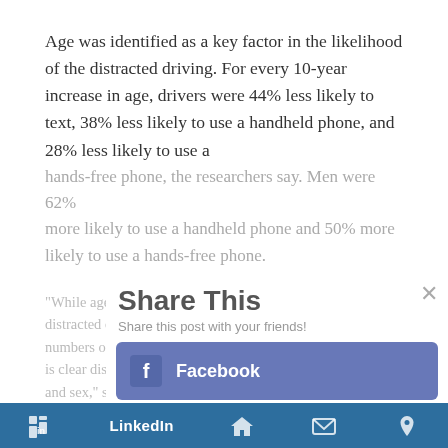Age was identified as a key factor in the likelihood of the distracted driving. For every 10-year increase in age, drivers were 44% less likely to text, 38% less likely to use a handheld phone, and 28% less likely to use a hands-free phone, the researchers say. Men were 62% more likely to use a handheld phone and 50% more likely to use a hands-free phone.
"While age and sex may be stable predictors of distracted driving, when considering the estimated numbers of Canadian drivers engaging in the behavior, it is clear distracted driving is common regardless of age and sex," said Craig Lyon, senior research scientist at TIRF.
About half of those surveyed (49.6%) agreed that talking
[Figure (screenshot): Share This modal overlay with social sharing buttons: Facebook (blue-purple), Twitter (light blue), Evernote (green), Gmail (red/salmon), LinkedIn (dark blue) with close X button, and a dark blue bottom navigation bar]